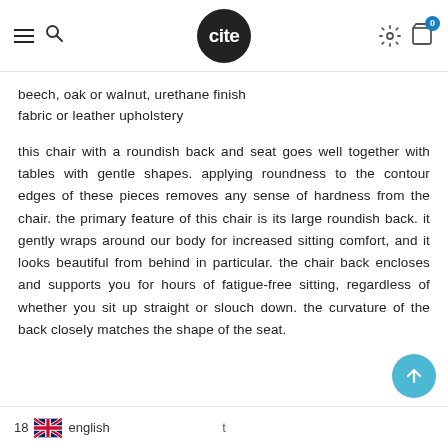cite — navigation header with hamburger menu, search, logo, settings, cart
beech, oak or walnut, urethane finish
fabric or leather upholstery
this chair with a roundish back and seat goes well together with tables with gentle shapes. applying roundness to the contour edges of these pieces removes any sense of hardness from the chair. the primary feature of this chair is its large roundish back. it gently wraps around our body for increased sitting comfort, and it looks beautiful from behind in particular. the chair back encloses and supports you for hours of fatigue-free sitting, regardless of whether you sit up straight or slouch down. the curvature of the back closely matches the shape of the seat.
18  🇬🇧  english    t